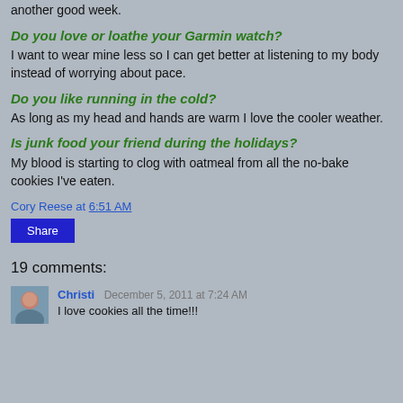another good week.
Do you love or loathe your Garmin watch?
I want to wear mine less so I can get better at listening to my body instead of worrying about pace.
Do you like running in the cold?
As long as my head and hands are warm I love the cooler weather.
Is junk food your friend during the holidays?
My blood is starting to clog with oatmeal from all the no-bake cookies I've eaten.
Cory Reese at 6:51 AM
Share
19 comments:
Christi December 5, 2011 at 7:24 AM
I love cookies all the time!!!